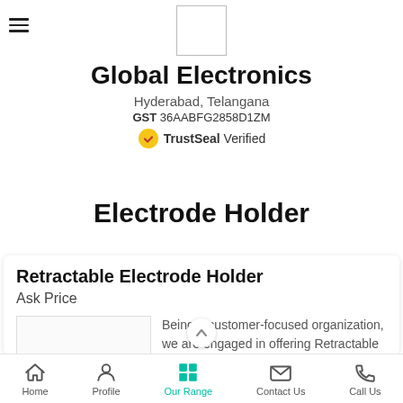[Figure (logo): Company logo placeholder box (white square with border)]
Global Electronics
Hyderabad, Telangana
GST 36AABFG2858D1ZM
TrustSeal Verified
Electrode Holder
Retractable Electrode Holder
Ask Price
[Figure (photo): Product image placeholder for Retractable Electrode Holder]
Being a customer-focused organization, we are engaged in offering Retractable Electrode Holder.
Home | Profile | Our Range | Contact Us | Call Us